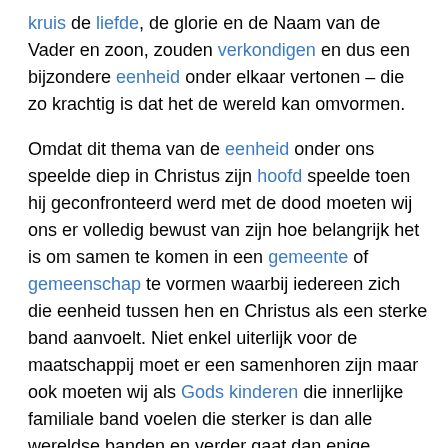kruis de liefde, de glorie en de Naam van de Vader en zoon, zouden verkondigen en dus een bijzondere eenheid onder elkaar vertonen – die zo krachtig is dat het de wereld kan omvormen.
Omdat dit thema van de eenheid onder ons speelde diep in Christus zijn hoofd speelde toen hij geconfronteerd werd met de dood moeten wij ons er volledig bewust van zijn hoe belangrijk het is om samen te komen in een gemeente of gemeenschap te vormen waarbij iedereen zich die eenheid tussen hen en Christus als een sterke band aanvoelt. Niet enkel uiterlijk voor de maatschappij moet er een samenhoren zijn maar ook moeten wij als Gods kinderen die innerlijke familiale band voelen die sterker is dan alle wereldse banden en verder gaat dan enige landsgrenzen.